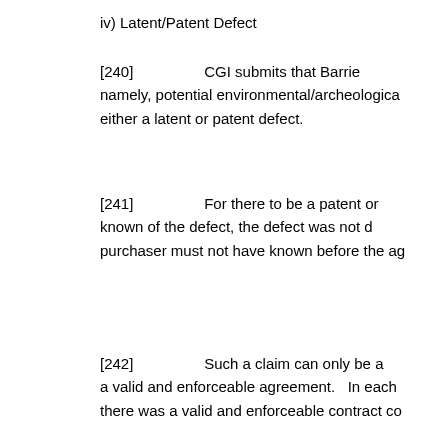iv) Latent/Patent Defect
[240]                CGI submits that Barrie namely, potential environmental/archeologica either a latent or patent defect.
[241]                For there to be a patent or known of the defect, the defect was not d purchaser must not have known before the ag
[242]                Such a claim can only be a a valid and enforceable agreement.   In each there was a valid and enforceable contract co